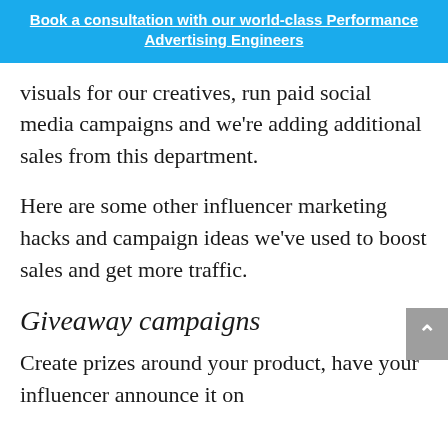Book a consultation with our world-class Performance Advertising Engineers
visuals for our creatives, run paid social media campaigns and we're adding additional sales from this department.
Here are some other influencer marketing hacks and campaign ideas we've used to boost sales and get more traffic.
Giveaway campaigns
Create prizes around your product, have your influencer announce it on